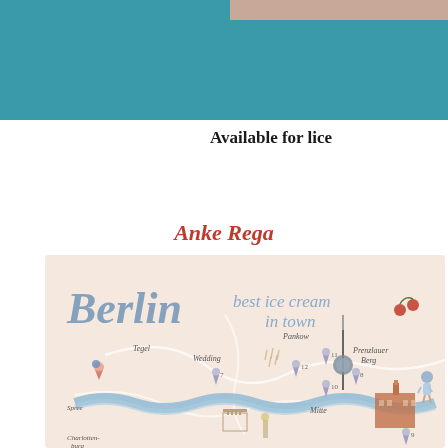[Figure (photo): Top banner with teal/turquoise background showing a partial photo strip at top right]
Available for lice
Anke Rega
[Figure (illustration): Illustrated map of Berlin showing 'Berlin best ice cream in town' with watercolor style drawings of Berlin landmarks including the TV tower, Brandenburg Gate, and neighborhoods like Tegel, Wedding, Pankow, Prenzlauer Berg, Mitte, Charlottenburg, with numbered ice cream shop locations and the Spree river winding through]